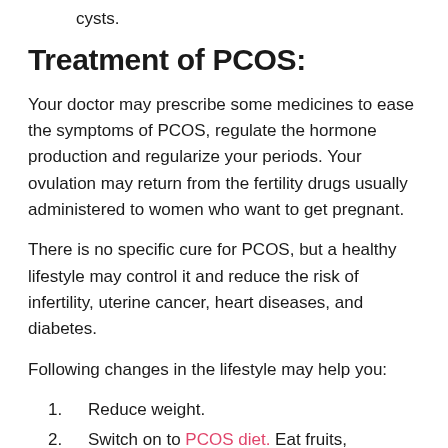cysts.
Treatment of PCOS:
Your doctor may prescribe some medicines to ease the symptoms of PCOS, regulate the hormone production and regularize your periods. Your ovulation may return from the fertility drugs usually administered to women who want to get pregnant.
There is no specific cure for PCOS, but a healthy lifestyle may control it and reduce the risk of infertility, uterine cancer, heart diseases, and diabetes.
Following changes in the lifestyle may help you:
Reduce weight.
Switch on to PCOS diet. Eat fruits, vegetables, complex carbohydrates and avoid refined sugars and saturated fats.